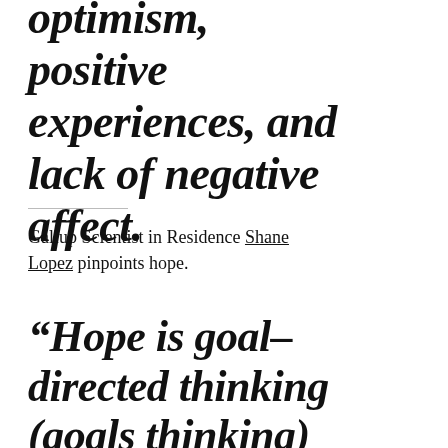optimism, positive experiences, and lack of negative affect.
Gallup Scientist in Residence Shane Lopez pinpoints hope.
“Hope is goal-directed thinking (goals thinking) in which people perceive that they